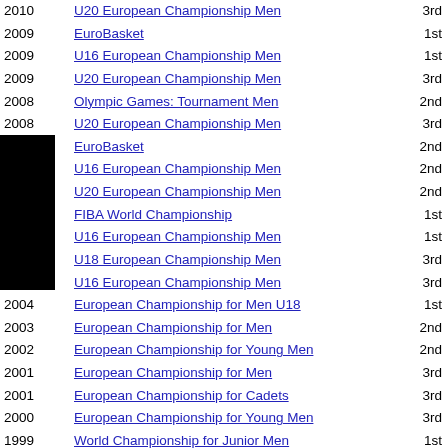| Year | Event | Place |
| --- | --- | --- |
| 2010 | U20 European Championship Men | 3rd |
| 2009 | EuroBasket | 1st |
| 2009 | U16 European Championship Men | 1st |
| 2009 | U20 European Championship Men | 3rd |
| 2008 | Olympic Games: Tournament Men | 2nd |
| 2008 | U20 European Championship Men | 3rd |
| [2007] | EuroBasket | 2nd |
| [2007] | U16 European Championship Men | 2nd |
| [2007] | U20 European Championship Men | 2nd |
| [2006] | FIBA World Championship | 1st |
| [2006] | U16 European Championship Men | 1st |
| 2006 | U18 European Championship Men | 3rd |
| 2005 | U16 European Championship Men | 3rd |
| 2004 | European Championship for Men U18 | 1st |
| 2003 | European Championship for Men | 2nd |
| 2002 | European Championship for Young Men | 2nd |
| 2001 | European Championship for Men | 3rd |
| 2001 | European Championship for Cadets | 3rd |
| 2000 | European Championship for Young Men | 3rd |
| 1999 | World Championship for Junior Men | 1st |
| 1999 | European Championship for Men | 2nd |
| 1998 | European Championship for Junior Men | 1st |
| 1996 | European Championship for Men '22 and Under' | 2nd |
| 1995 | European Championship for Cadets | 2nd |
| 1995 | World Championship for Junior Men | 3rd |